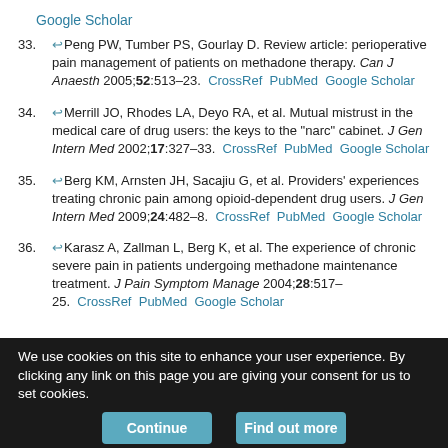Google Scholar
33. Peng PW, Tumber PS, Gourlay D. Review article: perioperative pain management of patients on methadone therapy. Can J Anaesth 2005;52:513–23. CrossRef PubMed Google Scholar
34. Merrill JO, Rhodes LA, Deyo RA, et al. Mutual mistrust in the medical care of drug users: the keys to the "narc" cabinet. J Gen Intern Med 2002;17:327–33. CrossRef PubMed Google Scholar
35. Berg KM, Arnsten JH, Sacajiu G, et al. Providers' experiences treating chronic pain among opioid-dependent drug users. J Gen Intern Med 2009;24:482–8. CrossRef PubMed Google Scholar
36. Karasz A, Zallman L, Berg K, et al. The experience of chronic severe pain in patients undergoing methadone maintenance treatment. J Pain Symptom Manage 2004;28:517–25. CrossRef PubMed Google Scholar
We use cookies on this site to enhance your user experience. By clicking any link on this page you are giving your consent for us to set cookies.